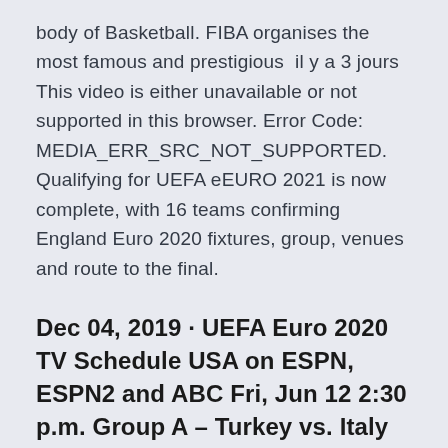body of Basketball. FIBA organises the most famous and prestigious  il y a 3 jours This video is either unavailable or not supported in this browser. Error Code: MEDIA_ERR_SRC_NOT_SUPPORTED. Qualifying for UEFA eEURO 2021 is now complete, with 16 teams confirming England Euro 2020 fixtures, group, venues and route to the final.
Dec 04, 2019 · UEFA Euro 2020 TV Schedule USA on ESPN, ESPN2 and ABC Fri, Jun 12 2:30 p.m. Group A – Turkey vs. Italy ESPN Sat, Jun 13 8:30 a.m. Group A – Wales vs. Switzerland ESPN